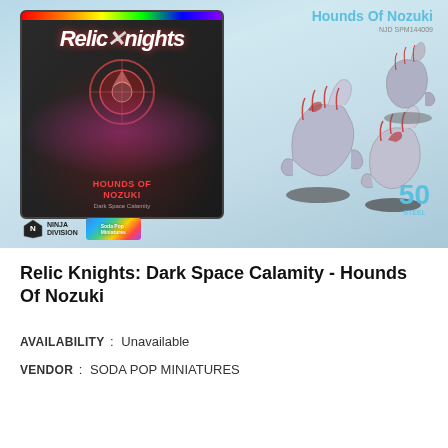[Figure (photo): Product image showing the Relic Knights: Hounds of Nozuki board game box (red and black design with Relic Knights logo and creature artwork) alongside four painted miniature wolf-like creatures on bases. Ninja Division and Soda Pop Miniatures logos visible. Price badge showing 50. Product title 'Hounds Of Nozuki' and SKU 'NJD SPM144009' shown in top right.]
Relic Knights: Dark Space Calamity - Hounds Of Nozuki
AVAILABILITY : Unavailable
VENDOR : SODA POP MINIATURES